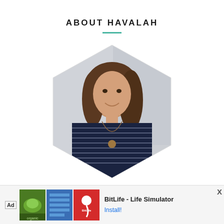ABOUT HAVALAH
[Figure (photo): Hexagon-framed portrait photo of a young woman with long brown wavy hair, wearing a dark navy striped shirt and a long necklace, smiling, with a light background.]
[Figure (infographic): Advertisement bar at the bottom: Ad label, images for an app (green background with produce, blue rectangles, red background with BitLife logo), text 'BitLife - Life Simulator', and an 'Install!' button link. An X close button is shown in the upper right of the ad overlay.]